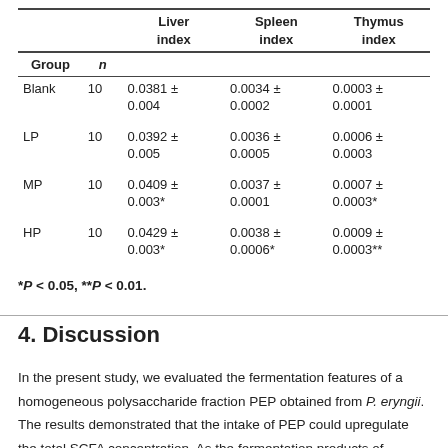| Group | n | Liver index | Spleen index | Thymus index |
| --- | --- | --- | --- | --- |
| Blank | 10 | 0.0381 ± 0.004 | 0.0034 ± 0.0002 | 0.0003 ± 0.0001 |
| LP | 10 | 0.0392 ± 0.005 | 0.0036 ± 0.0005 | 0.0006 ± 0.0003 |
| MP | 10 | 0.0409 ± 0.003* | 0.0037 ± 0.0001 | 0.0007 ± 0.0003* |
| HP | 10 | 0.0429 ± 0.003* | 0.0038 ± 0.0006* | 0.0009 ± 0.0003** |
*P < 0.05, **P < 0.01.
4. Discussion
In the present study, we evaluated the fermentation features of a homogeneous polysaccharide fraction PEP obtained from P. eryngii. The results demonstrated that the intake of PEP could upregulate the total SCFA concentration. As the fermentation products of